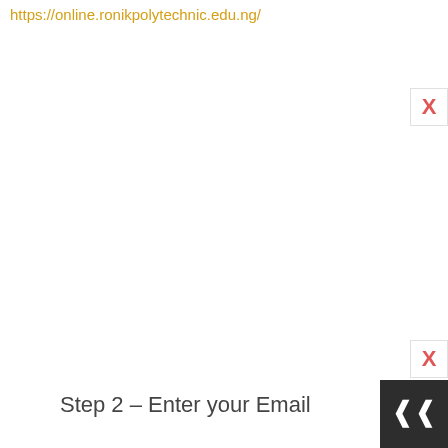https://online.ronikpolytechnic.edu.ng/
[Figure (screenshot): Close button (X) in red on white background, top right corner]
Step 2 – Enter your Email
[Figure (screenshot): Dark box with double up-arrow chevron at bottom right, with red X close button above it]